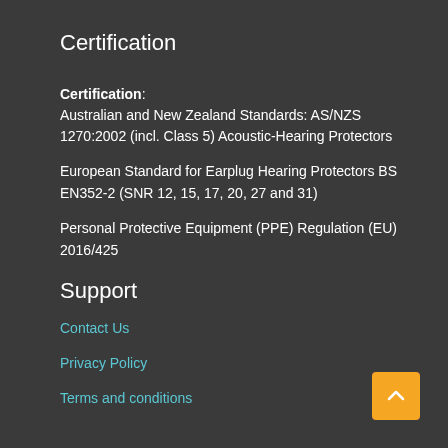Certification
Certification: Australian and New Zealand Standards: AS/NZS 1270:2002 (incl. Class 5) Acoustic-Hearing Protectors
European Standard for Earplug Hearing Protectors BS EN352-2 (SNR 12, 15, 17, 20, 27 and 31)
Personal Protective Equipment (PPE) Regulation (EU) 2016/425
Support
Contact Us
Privacy Policy
Terms and conditions